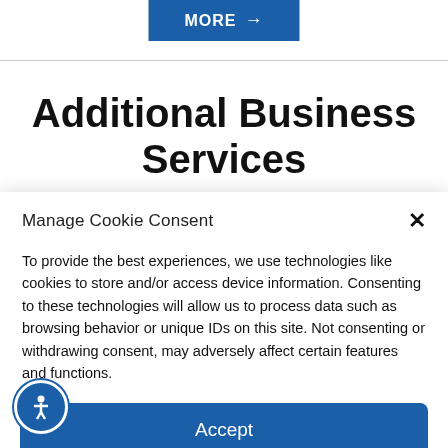[Figure (other): Blue 'MORE →' button at top center]
Additional Business Services
Manage Cookie Consent
To provide the best experiences, we use technologies like cookies to store and/or access device information. Consenting to these technologies will allow us to process data such as browsing behavior or unique IDs on this site. Not consenting or withdrawing consent, may adversely affect certain features and functions.
Accept
Opt-out preferences   Privacy Policy